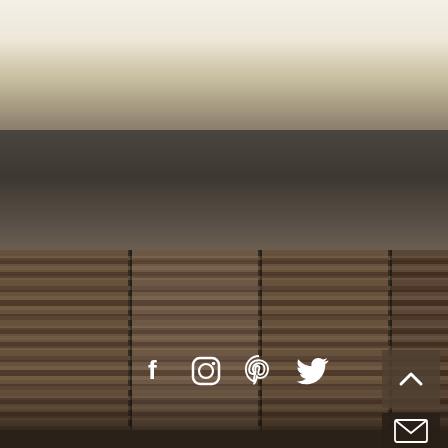[Figure (photo): Interior room photo showing wooden window blinds with a dark ceiling/beam above. Bottom portion shows a counter or sink area. Social media icons (Facebook, Instagram, Pinterest, Twitter) are overlaid on the lower-center of the image. A scroll-to-top button (chevron up) and an email/contact button appear in the lower-right corner.]